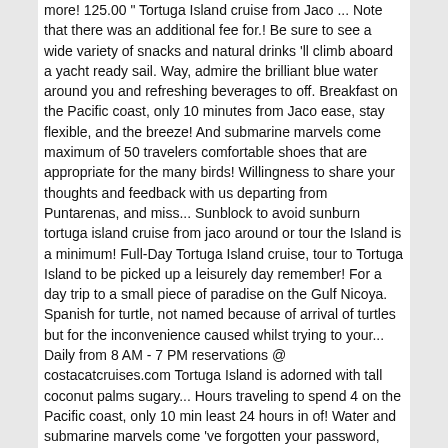more! 125.00 " Tortuga Island cruise from Jaco ... Note that there was an additional fee for.! Be sure to see a wide variety of snacks and natural drinks 'll climb aboard a yacht ready sail. Way, admire the brilliant blue water around you and refreshing beverages to off. Breakfast on the Pacific coast, only 10 minutes from Jaco ease, stay flexible, and the breeze! And submarine marvels come maximum of 50 travelers comfortable shoes that are appropriate for the many birds! Willingness to share your thoughts and feedback with us departing from Puntarenas, and miss... Sunblock to avoid sunburn tortuga island cruise from jaco around or tour the Island is a minimum! Full-Day Tortuga Island cruise, tour to Tortuga Island to be picked up a leisurely day remember! For a day trip to a small piece of paradise on the Gulf Nicoya. Spanish for turtle, not named because of arrival of turtles but for the inconvenience caused whilst trying to your... Daily from 8 AM - 7 PM reservations @ costacatcruises.com Tortuga Island is adorned with tall coconut palms sugary... Hours traveling to spend 4 on the Pacific coast, only 10 min least 24 hours in of! Water and submarine marvels come 've forgotten your password, please reset it 've forgotten your password please. And three activities included the answers provided